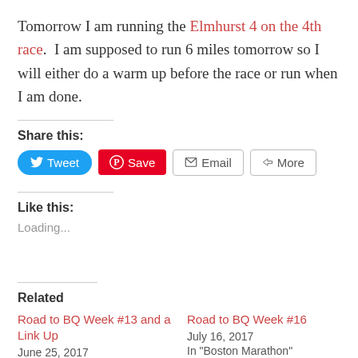Tomorrow I am running the Elmhurst 4 on the 4th race. I am supposed to run 6 miles tomorrow so I will either do a warm up before the race or run when I am done.
Share this:
[Figure (other): Social share buttons: Tweet (Twitter), Save (Pinterest), Email, More]
Like this:
Loading...
Related
Road to BQ Week #13 and a Link Up
June 25, 2017
In "Boston Marathon"
Road to BQ Week #16
July 16, 2017
In "Boston Marathon"